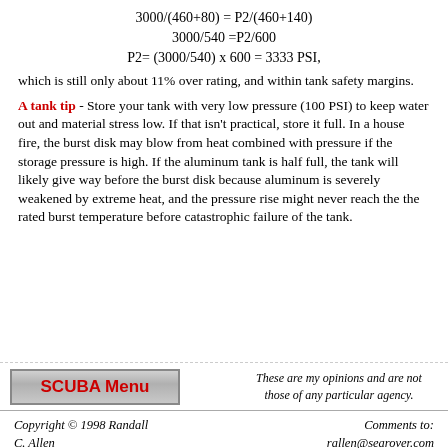which is still only about 11% over rating, and within tank safety margins.
A tank tip - Store your tank with very low pressure (100 PSI) to keep water out and material stress low. If that isn't practical, store it full. In a house fire, the burst disk may blow from heat combined with pressure if the storage pressure is high. If the aluminum tank is half full, the tank will likely give way before the burst disk because aluminum is severely weakened by extreme heat, and the pressure rise might never reach the the rated burst temperature before catastrophic failure of the tank.
[Figure (other): SCUBA Menu button with gray gradient background and red bold text]
These are my opinions and are not those of any particular agency.
Copyright © 1998 Randall C. Allen     Comments to: rallen@searover.com